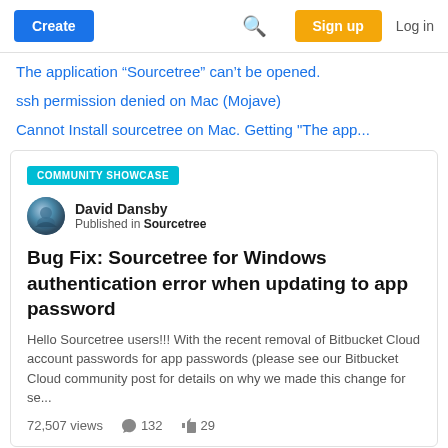Create | Search | Sign up | Log in
The application “Sourcetree” can’t be opened.
ssh permission denied on Mac (Mojave)
Cannot Install sourcetree on Mac. Getting "The app..."
COMMUNITY SHOWCASE
David Dansby
Published in Sourcetree
Bug Fix: Sourcetree for Windows authentication error when updating to app password
Hello Sourcetree users!!! With the recent removal of Bitbucket Cloud account passwords for app passwords (please see our Bitbucket Cloud community post for details on why we made this change for se...
72,507 views   132   29